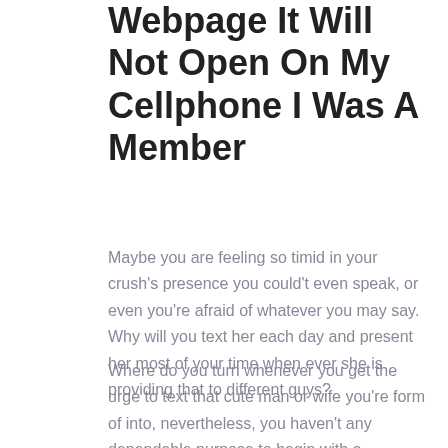Webpage It Will Not Open On My Cellphone I Was A Member
Maybe you are feeling so timid in your crush's presence you could't even speak, or even you're afraid of whatever you may say. Why will you text her each day and present her most of your time when ever she is providing that to different guys?
Where do you turn whenever you get the urge to text that cute man or wife you're form of into, nevertheless, you haven't any dependable purpose to begin with a discussion? You could use a tacky pick-up line like everyone else, but you don't want to come across while cliché. And you